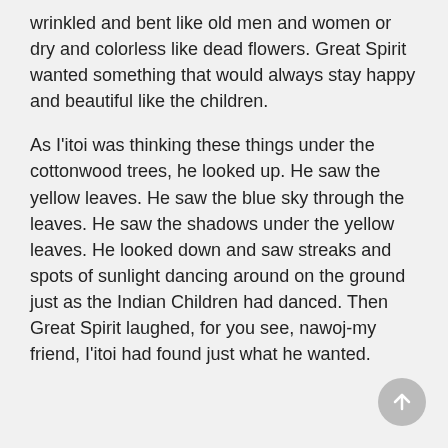wrinkled and bent like old men and women or dry and colorless like dead flowers. Great Spirit wanted something that would always stay happy and beautiful like the children.
As I'itoi was thinking these things under the cottonwood trees, he looked up. He saw the yellow leaves. He saw the blue sky through the leaves. He saw the shadows under the yellow leaves. He looked down and saw streaks and spots of sunlight dancing around on the ground just as the Indian Children had danced. Then Great Spirit laughed, for you see, nawoj-my friend, I'itoi had found just what he wanted.